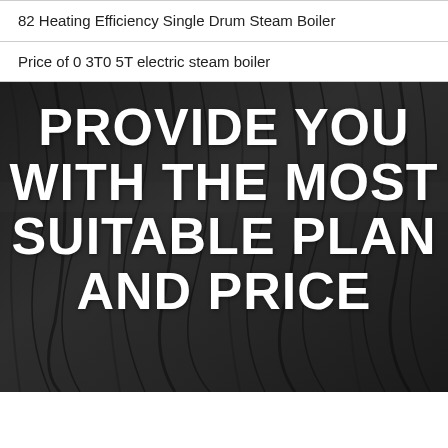82 Heating Efficiency Single Drum Steam Boiler
Price of 0 3T0 5T electric steam boiler
[Figure (photo): Dark wood or charcoal textured background with large bold white text reading: PROVIDE YOU WITH THE MOST SUITABLE PLAN AND PRICE (partially visible)]